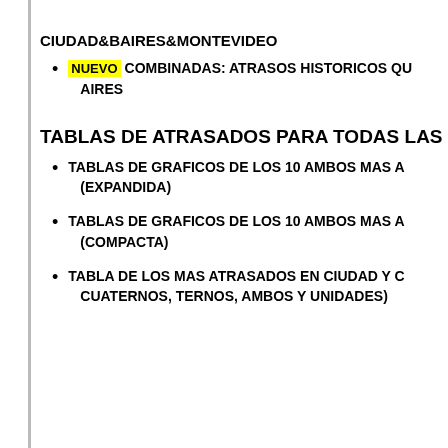CIUDAD&BAIRES&MONTEVIDEO
NUEVO COMBINADAS: ATRASOS HISTORICOS QU... AIRES
TABLAS DE ATRASADOS PARA TODAS LAS
TABLAS DE GRAFICOS DE LOS 10 AMBOS MAS A... (EXPANDIDA)
TABLAS DE GRAFICOS DE LOS 10 AMBOS MAS A... (COMPACTA)
TABLA DE LOS MAS ATRASADOS EN CIUDAD Y C... CUATERNOS, TERNOS, AMBOS Y UNIDADES)